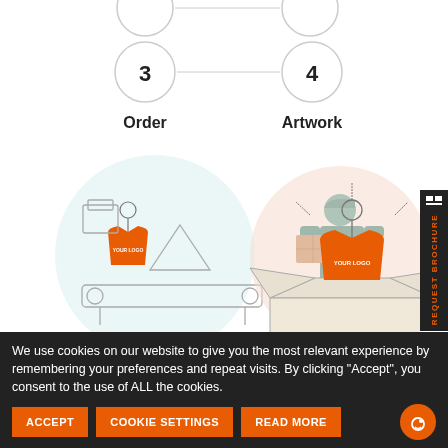[Figure (infographic): Step 3 circle with number 3, connected by a line to step 4 circle with number 4. Below are labels Order and Artwork. Below those are illustrations: step 3 shows a person in a teal shirt and orange apron carrying a box at a conveyor belt with garments; step 4 shows an orange t-shirt on a hanger inside an open box. At the bottom, partially visible circles with numbers 5 and 6.]
We use cookies on our website to give you the most relevant experience by remembering your preferences and repeat visits. By clicking “Accept”, you consent to the use of ALL the cookies.
ACCEPT
COOKIE SETTINGS
READ MORE